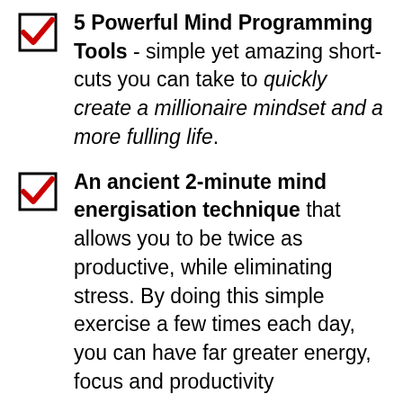5 Powerful Mind Programming Tools - simple yet amazing short-cuts you can take to quickly create a millionaire mindset and a more fulling life.
An ancient 2-minute mind energisation technique that allows you to be twice as productive, while eliminating stress. By doing this simple exercise a few times each day, you can have far greater energy, focus and productivity...